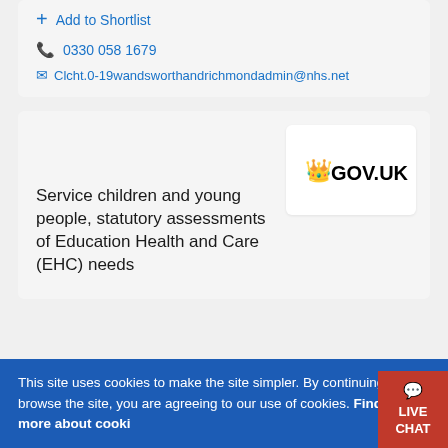+ Add to Shortlist
0330 058 1679
Clcht.0-19wandsworthandrichmondadmin@nhs.net
[Figure (logo): GOV.UK logo with crown symbol on white background]
Service children and young people, statutory assessments of Education Health and Care (EHC) needs
This site uses cookies to make the site simpler. By continuing to browse the site, you are agreeing to our use of cookies. Find out more about cookies
LIVE CHAT